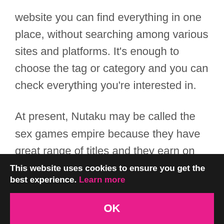website you can find everything in one place, without searching among various sites and platforms. It's enough to choose the tag or category and you can check everything you're interested in.
At present, Nutaku may be called the sex games empire because they have great range of titles and they earn on various small transactions connected with playing these games. How to hack Nutaku games and save some cash? Nutaku coins may be hacked because there are some cheats that may help you. On the market there is available the Nutaku coin hack that may
This website uses cookies to ensure you get the best experience. Learn more
OK